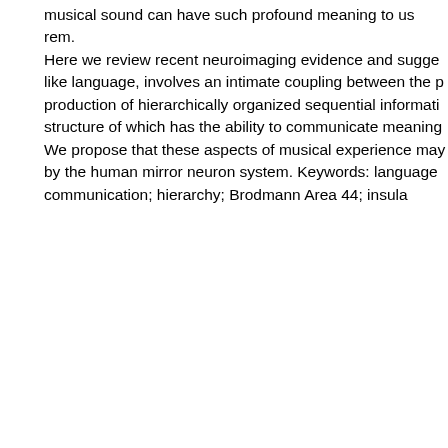musical sound can have such profound meaning to us rem. Here we review recent neuroimaging evidence and sugge like language, involves an intimate coupling between the p production of hierarchically organized sequential informati structure of which has the ability to communicate meaning We propose that these aspects of musical experience may by the human mirror neuron system. Keywords: language communication; hierarchy; Brodmann Area 44; insula